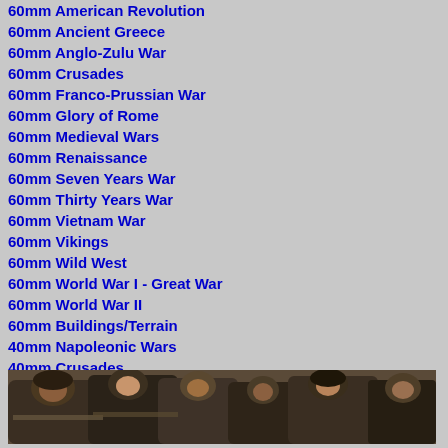60mm American Revolution
60mm Ancient Greece
60mm Anglo-Zulu War
60mm Crusades
60mm Franco-Prussian War
60mm Glory of Rome
60mm Medieval Wars
60mm Renaissance
60mm Seven Years War
60mm Thirty Years War
60mm Vietnam War
60mm Vikings
60mm Wild West
60mm World War I - Great War
60mm World War II
60mm Buildings/Terrain
40mm Napoleonic Wars
40mm Crusades
Gift Certificates
and are therefore not suitable for children.  Further variations may exist between the figure shown in
[Figure (photo): Group of painted miniature figures depicting historical soldiers/warriors, close-up view showing detailed paintwork on multiple figures]